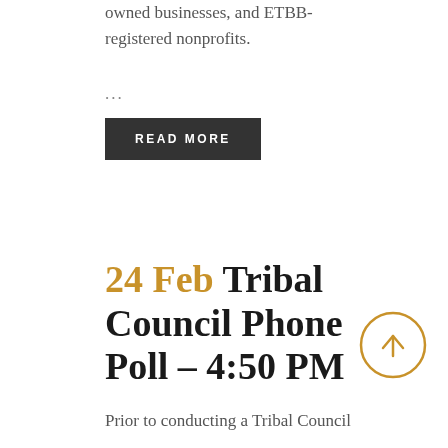owned businesses, and ETBB-registered nonprofits.
...
READ MORE
24 Feb Tribal Council Phone Poll – 4:50 PM
Prior to conducting a Tribal Council